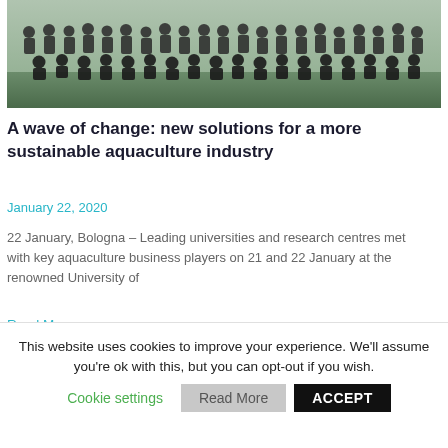[Figure (photo): Group photo of many people (researchers, academics, business representatives) gathered outdoors for an aquaculture conference at University of Bologna, January 2020.]
A wave of change: new solutions for a more sustainable aquaculture industry
January 22, 2020
22 January, Bologna – Leading universities and research centres met with key aquaculture business players on 21 and 22 January at the renowned University of
Read More
This website uses cookies to improve your experience. We'll assume you're ok with this, but you can opt-out if you wish.
Cookie settings
Read More
ACCEPT